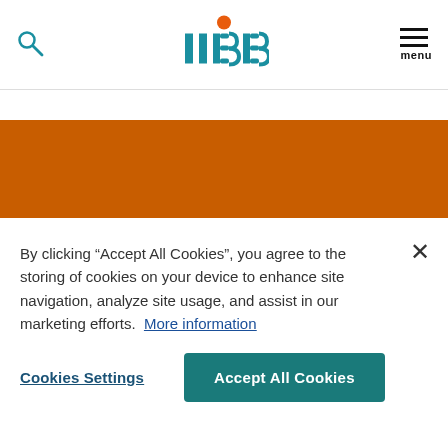IIBA® — search and menu navigation header
Challenge Your Business Analysis
By clicking “Accept All Cookies”, you agree to the storing of cookies on your device to enhance site navigation, analyze site usage, and assist in our marketing efforts. More information
Cookies Settings
Accept All Cookies